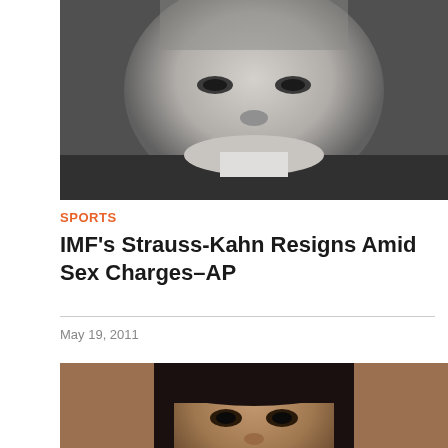[Figure (photo): Black and white close-up mug shot photo of an older man with grey hair, deep-set eyes, and a serious expression, wearing a dark jacket]
SPORTS
IMF's Strauss-Kahn Resigns Amid Sex Charges–AP
May 19, 2011
[Figure (photo): Color close-up photo of a young Black woman with straight black hair, looking directly at the camera with a neutral expression]